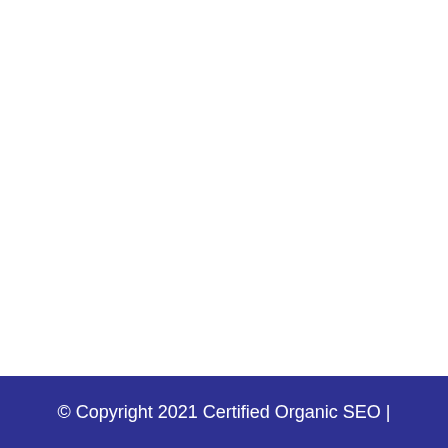© Copyright 2021 Certified Organic SEO |